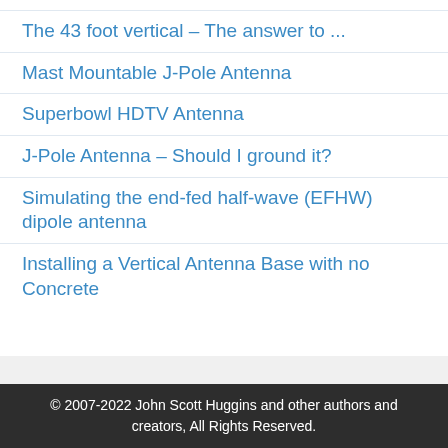The 43 foot vertical – The answer to ...
Mast Mountable J-Pole Antenna
Superbowl HDTV Antenna
J-Pole Antenna – Should I ground it?
Simulating the end-fed half-wave (EFHW) dipole antenna
Installing a Vertical Antenna Base with no Concrete
© 2007-2022 John Scott Huggins and other authors and creators, All Rights Reserved.